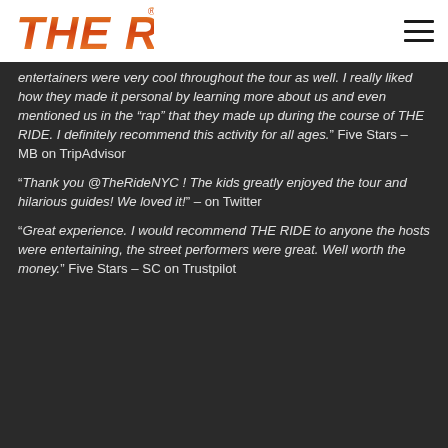THE RIDE [logo] [hamburger menu]
entertainers were very cool throughout the tour as well. I really liked how they made it personal by learning more about us and even mentioned us in the “rap” that they made up during the course of THE RIDE. I definitely recommend this activity for all ages.” Five Stars – MB on TripAdvisor
“Thank you @TheRideNYC ! The kids greatly enjoyed the tour and hilarious guides! We loved it!” – on Twitter
“Great experience. I would recommend THE RIDE to anyone the hosts were entertaining, the street performers were great. Well worth the money.” Five Stars – SC on Trustpilot